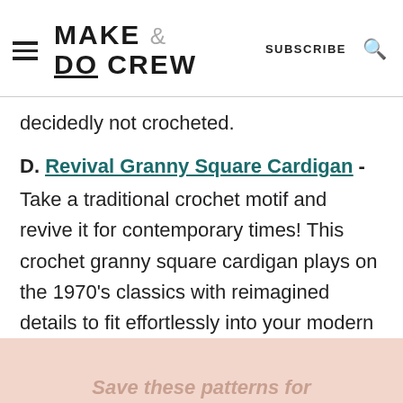Make & Do Crew — SUBSCRIBE
decidedly not crocheted.
D. Revival Granny Square Cardigan - Take a traditional crochet motif and revive it for contemporary times! This crochet granny square cardigan plays on the 1970's classics with reimagined details to fit effortlessly into your modern wardrobe.
Save these patterns for later! Click to pin this...